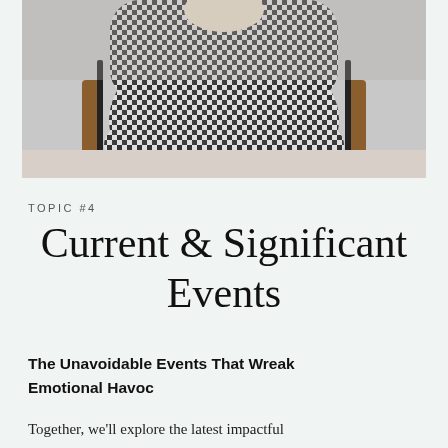[Figure (photo): Person sitting in a wooden chair wearing a black and white gingham/checkered outfit, close-up showing torso and crossed arms]
TOPIC #4
Current & Significant Events
The Unavoidable Events That Wreak Emotional Havoc
Together, we'll explore the latest impactful